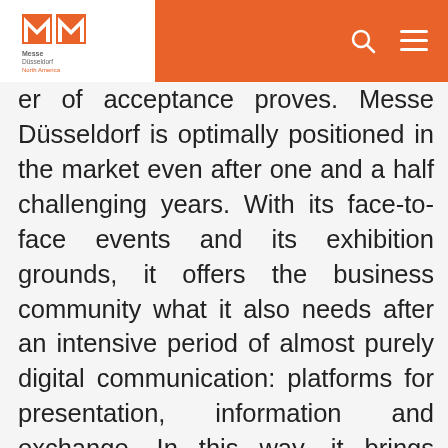Messe Düsseldorf North America [logo] [search] [menu]
er of acceptance proves. Messe Düsseldorf is optimally positioned in the market even after one and a half challenging years. With its face-to-face events and its exhibition grounds, it offers the business community what it also needs after an intensive period of almost purely digital communication: platforms for presentation, information and exchange. In this way, it brings important visitors to the city of Düsseldorf and the region, who strengthen the economy, generate sales and tax revenues and, last but not least, secure jobs."